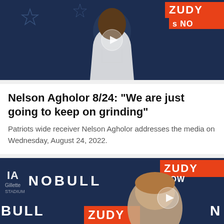[Figure (photo): Video thumbnail showing a Patriots player in white jersey at a press conference with ZUDY Apps NOW branding in background. Play button overlay in center.]
Nelson Agholor 8/24: "We are just going to keep on grinding"
Patriots wide receiver Nelson Agholor addresses the media on Wednesday, August 24, 2022.
[Figure (photo): Video thumbnail showing a player at press conference with NOBULL and ZUDY NOW branding on backdrop. Play button overlay in center.]
[Figure (other): Social share bar with Facebook, Twitter, email, and link icons]